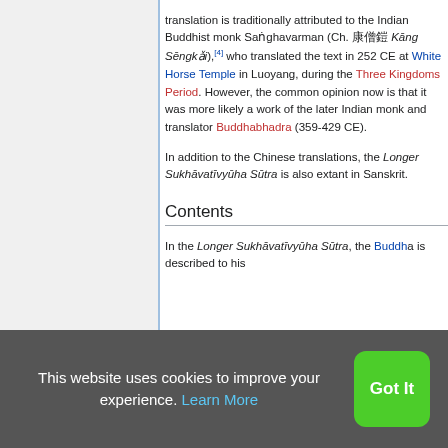translation is traditionally attributed to the Indian Buddhist monk Saṅghavarman (Ch. 康僧鎧 Kāng Sēngkǎi),[4] who translated the text in 252 CE at White Horse Temple in Luoyang, during the Three Kingdoms Period. However, the common opinion now is that it was more likely a work of the later Indian monk and translator Buddhabhadra (359-429 CE).
In addition to the Chinese translations, the Longer Sukhāvatīvyūha Sūtra is also extant in Sanskrit.
Contents
In the Longer Sukhāvatīvyūha Sūtra, the Buddha is described as his...